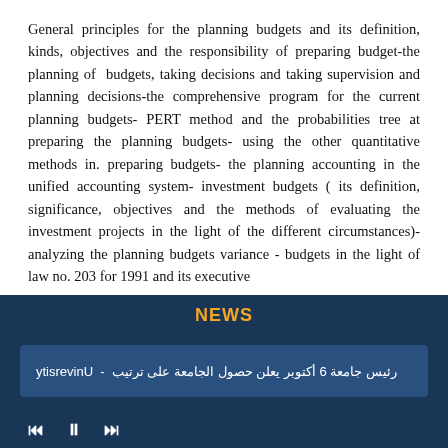General principles for the planning budgets and its definition, kinds, objectives and the responsibility of preparing budget-the planning of budgets, taking decisions and taking supervision and planning decisions-the comprehensive program for the current planning budgets- PERT method and the probabilities tree at preparing the planning budgets- using the other quantitative methods in. preparing budgets- the planning accounting in the unified accounting system- investment budgets ( its definition, significance, objectives and the methods of evaluating the investment projects in the light of the different circumstances)- analyzing the planning budgets variance - budgets in the light of law no. 203 for 1991 and its executive
NEWS
رئيس جامعة 6 أكتوبر يعلن حصول الجامعة على ترتيب - University